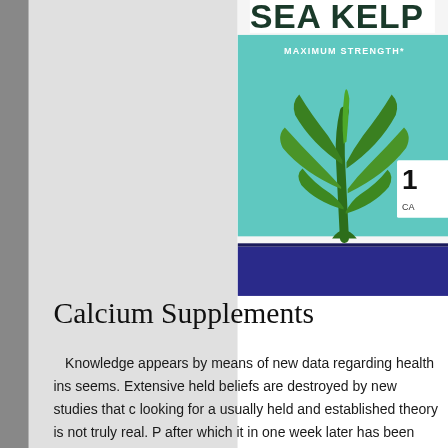[Figure (photo): A Sea Kelp supplement bottle. The bottle has a teal/turquoise label with 'SEA KELP' in large dark text at the top, 'MAXIMUM STRENGTH*' below it, and a green kelp plant illustration in the center. The bottle body is dark navy/cobalt blue. The label also reads 'AN ALL NATURAL DIETARY SUPPLEMENT'. Partial number '1' and 'CA' visible on right edge.]
Calcium Supplements
Knowledge appears by means of new data regarding health ins seems. Extensive held beliefs are destroyed by new studies that c looking for a usually held and established theory is not truly real. P after which it in one week later has been touted like a cancer tumo already been proved to shield you will against a single condition b leading you to be get which state you fear the very least ,. If you b